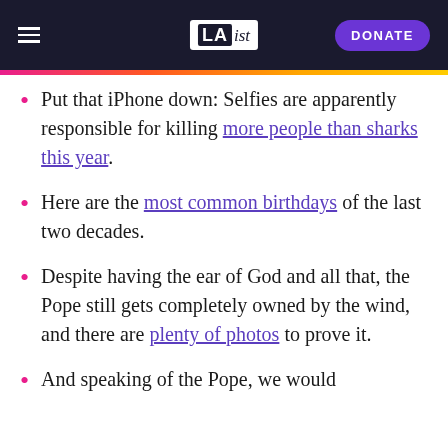LAist — DONATE
Put that iPhone down: Selfies are apparently responsible for killing more people than sharks this year.
Here are the most common birthdays of the last two decades.
Despite having the ear of God and all that, the Pope still gets completely owned by the wind, and there are plenty of photos to prove it.
And speaking of the Pope, we would